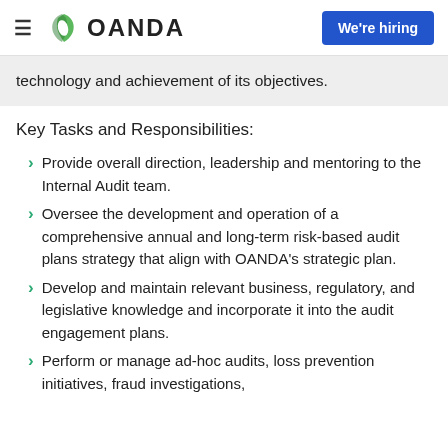OANDA — We're hiring
technology and achievement of its objectives.
Key Tasks and Responsibilities:
Provide overall direction, leadership and mentoring to the Internal Audit team.
Oversee the development and operation of a comprehensive annual and long-term risk-based audit plans strategy that align with OANDA's strategic plan.
Develop and maintain relevant business, regulatory, and legislative knowledge and incorporate it into the audit engagement plans.
Perform or manage ad-hoc audits, loss prevention initiatives, fraud investigations,